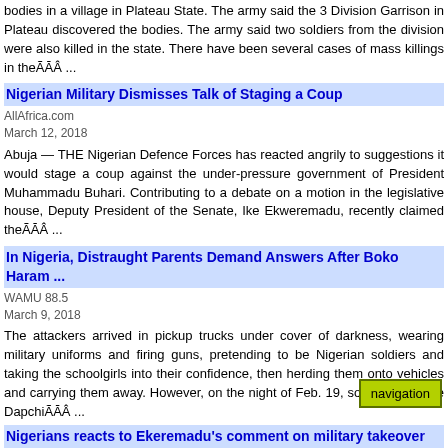bodies in a village in Plateau State. The army said the 3 Division Garrison in Plateau discovered the bodies. The army said two soldiers from the division were also killed in the state. There have been several cases of mass killings in theÃĀÂ ...
Nigerian Military Dismisses Talk of Staging a Coup
AllAfrica.com
March 12, 2018
Abuja — THE Nigerian Defence Forces has reacted angrily to suggestions it would stage a coup against the under-pressure government of President Muhammadu Buhari. Contributing to a debate on a motion in the legislative house, Deputy President of the Senate, Ike Ekweremadu, recently claimed theÃĀÂ ...
In Nigeria, Distraught Parents Demand Answers After Boko Haram ...
WAMU 88.5
March 9, 2018
The attackers arrived in pickup trucks under cover of darkness, wearing military uniforms and firing guns, pretending to be Nigerian soldiers and taking the schoolgirls into their confidence, then herding them onto vehicles and carrying them away. However, on the night of Feb. 19, some girls at the DapchiÃĀÂ ...
navigation
Nigerians reacts to Ekeremadu's comment on military takeover